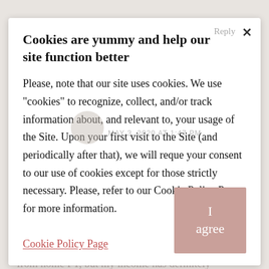Cookies are yummy and help our site function better
Please, note that our site uses cookies. We use "cookies" to recognize, collect, and/or track information about, and relevant to, your usage of the Site. Upon your first visit to the Site (and periodically after that), we will reque your consent to our use of cookies except for those strictly necessary. Please, refer to our Cookie Policy Page for more information.
Cookie Policy Page
Oh, HECK yeah, we're all in different leaky boats right now. I feel so fortunate because both my husband and I are able to work from home FT, but my income has definitely taken a hit, and doing my work on top of monitoring/facilitating the kids' school